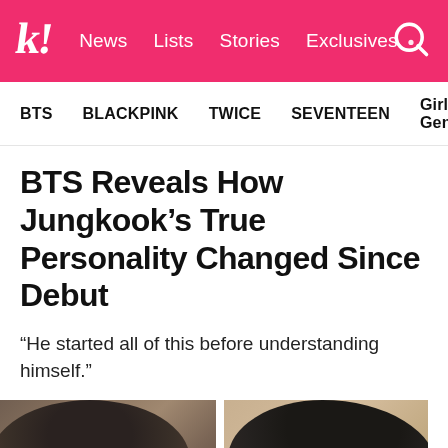k! News Lists Stories Exclusives
BTS   BLACKPINK   TWICE   SEVENTEEN   Girls' Generation
BTS Reveals How Jungkook's True Personality Changed Since Debut
“He started all of this before understanding himself.”
[Figure (photo): Two photos of Jungkook side by side showing his appearance at different times]